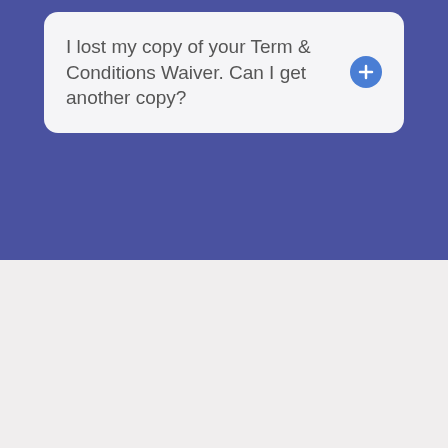I lost my copy of your Term & Conditions Waiver. Can I get another copy?
[Figure (logo): Montauk Parasail logo with colorful parasail parachute on the left and blue water splash graphics flanking the text 'MONTAUK PARASAIL' in bold black letters]